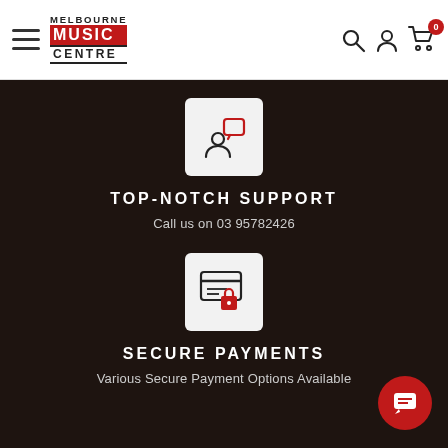[Figure (logo): Melbourne Music Centre logo with hamburger menu, search, account, and cart icons in white header]
[Figure (illustration): White box icon showing a person silhouette with a speech bubble, on dark background]
TOP-NOTCH SUPPORT
Call us on 03 95782426
[Figure (illustration): White box icon showing a credit card with a lock, on dark background]
SECURE PAYMENTS
Various Secure Payment Options Available